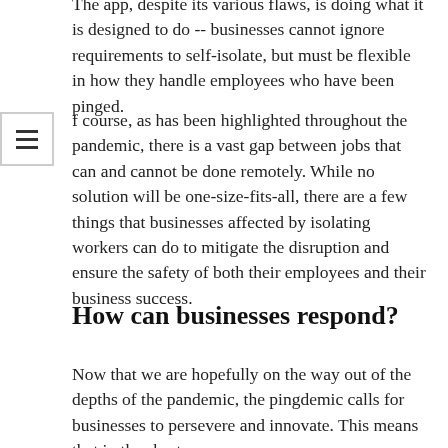The app, despite its various flaws, is doing what it is designed to do -- businesses cannot ignore requirements to self-isolate, but must be flexible in how they handle employees who have been pinged.
Of course, as has been highlighted throughout the pandemic, there is a vast gap between jobs that can and cannot be done remotely. While no solution will be one-size-fits-all, there are a few things that businesses affected by isolating workers can do to mitigate the disruption and ensure the safety of both their employees and their business success.
How can businesses respond?
Now that we are hopefully on the way out of the depths of the pandemic, the pingdemic calls for businesses to persevere and innovate. This means that in the short